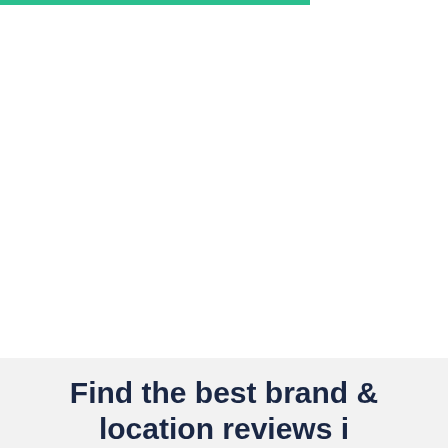[Figure (other): Teal/green horizontal bar at top left of page]
Find the best brand & location reviews i